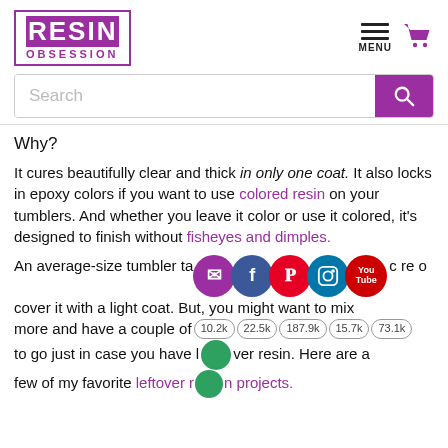[Figure (logo): Resin Obsession logo with purple background for RESIN text and outlined box with OBSESSION in purple]
[Figure (infographic): Navigation icons: hamburger menu labeled MENU and purple shopping cart icon]
[Figure (screenshot): Search bar with Search placeholder and purple search button]
Why?
It cures beautifully clear and thick in only one coat. It also locks in epoxy colors if you want to use colored resin on your tumblers. And whether you leave it color or use it colored, it's designed to finish without fisheyes and dimples.
An average-size tumbler takes about 2 ounces to cover it with a light coat. But, you might want to mix more and have a couple of 10.2k 22.5k 187.9k 15.7k 73.1k to go just in case you have leftover resin. Here are a few of my favorite leftover resin projects.